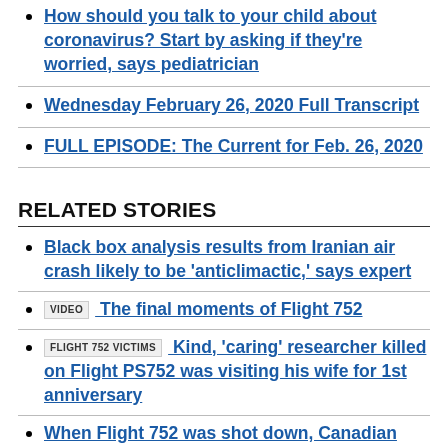How should you talk to your child about coronavirus? Start by asking if they're worried, says pediatrician
Wednesday February 26, 2020 Full Transcript
FULL EPISODE: The Current for Feb. 26, 2020
RELATED STORIES
Black box analysis results from Iranian air crash likely to be 'anticlimactic,' says expert
VIDEO  The final moments of Flight 752
FLIGHT 752 VICTIMS  Kind, 'caring' researcher killed on Flight PS752 was visiting his wife for 1st anniversary
When Flight 752 was shot down, Canadian schools lost some of their best and brightest